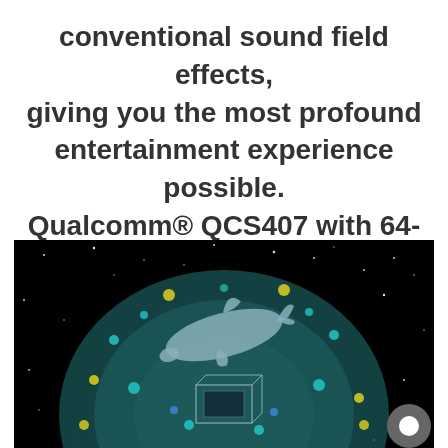conventional sound field effects, giving you the most profound entertainment experience possible. Qualcomm® QCS407 with 64-bit high precision processing delivers precise surround sound.
[Figure (illustration): Dark image on black starfield background showing a glowing teal dome/sphere with colorful dots (yellow, teal, blue), a dolphin silhouette flying above a wireframe cube device, representing 3D surround sound visualization. A circular chat button appears in the bottom-right corner.]